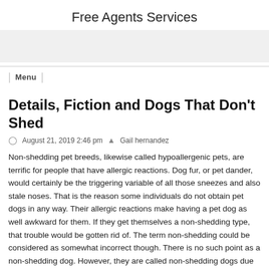Free Agents Services
Menu
Details, Fiction and Dogs That Don't Shed
August 21, 2019 2:46 pm  Gail hernandez
Non-shedding pet breeds, likewise called hypoallergenic pets, are terrific for people that have allergic reactions. Dog fur, or pet dander, would certainly be the triggering variable of all those sneezes and also stale noses. That is the reason some individuals do not obtain pet dogs in any way. Their allergic reactions make having a pet dog as well awkward for them. If they get themselves a non-shedding type, that trouble would be gotten rid of. The term non-shedding could be considered as somewhat incorrect though. There is no such point as a non-shedding dog. However, they are called non-shedding dogs due